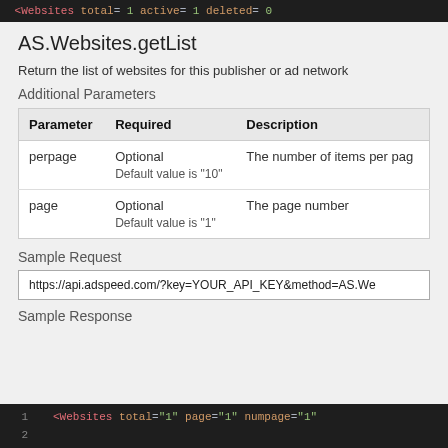[Figure (screenshot): Dark code editor bar showing XML: <Websites total= 1 active= 1 deleted= 0]
AS.Websites.getList
Return the list of websites for this publisher or ad network
Additional Parameters
| Parameter | Required | Description |
| --- | --- | --- |
| perpage | Optional
Default value is "10" | The number of items per page |
| page | Optional
Default value is "1" | The page number |
Sample Request
https://api.adspeed.com/?key=YOUR_API_KEY&method=AS.We
Sample Response
[Figure (screenshot): Dark code editor showing XML response: <Websites total="1" page="1" numpage="1"]